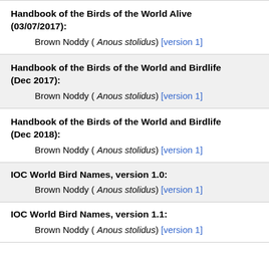Handbook of the Birds of the World Alive (03/07/2017):
Brown Noddy ( Anous stolidus) [version 1]
Handbook of the Birds of the World and Birdlife (Dec 2017):
Brown Noddy ( Anous stolidus) [version 1]
Handbook of the Birds of the World and Birdlife (Dec 2018):
Brown Noddy ( Anous stolidus) [version 1]
IOC World Bird Names, version 1.0:
Brown Noddy ( Anous stolidus) [version 1]
IOC World Bird Names, version 1.1:
Brown Noddy ( Anous stolidus) [version 1]